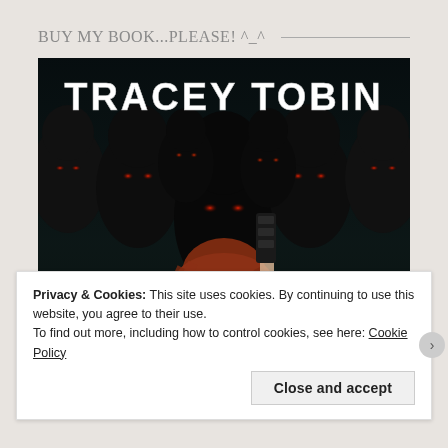BUY MY BOOK...PLEASE! ^_^
[Figure (photo): Book cover showing author name TRACEY TOBIN in large white letters at top, with dark hooded figures with glowing red eyes in the background, and a person with red/auburn hair holding a weapon in the foreground]
Privacy & Cookies: This site uses cookies. By continuing to use this website, you agree to their use.
To find out more, including how to control cookies, see here: Cookie Policy
Close and accept